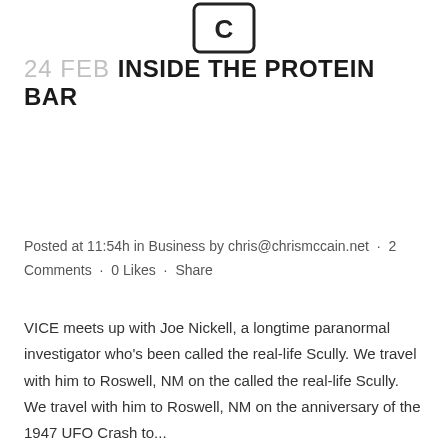[Figure (logo): Small icon/logo box with a bold letter or symbol inside a rounded rectangle border]
24 FEB INSIDE THE PROTEIN BAR
Posted at 11:54h in Business by chris@chrismccain.net · 2 Comments · 0 Likes · Share
VICE meets up with Joe Nickell, a longtime paranormal investigator who's been called the real-life Scully. We travel with him to Roswell, NM on the called the real-life Scully. We travel with him to Roswell, NM on the anniversary of the 1947 UFO Crash to...